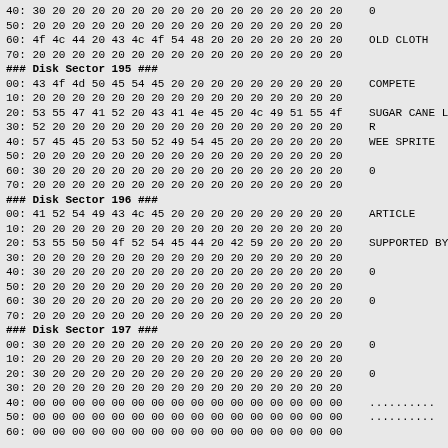40: 30 20 20 20 20 20 20 20 20 20 20 20 20 20 20 20    0
50: 20 20 20 20 20 20 20 20 20 20 20 20 20 20 20 20
60: 4f 4c 44 20 43 4c 4f 54 48 20 20 20 20 20 20 20    OLD CLOTH
70: 20 20 20 20 20 20 20 20 20 20 20 20 20 20 20 20
### Disk Sector 195 ###
00: 43 4f 4d 50 45 54 45 20 20 20 20 20 20 20 20 20    COMPETE
10: 20 20 20 20 20 20 20 20 20 20 20 20 20 20 20 20
20: 53 55 47 41 52 20 43 41 4e 45 20 4c 49 51 55 4f    SUGAR CANE L
30: 52 20 20 20 20 20 20 20 20 20 20 20 20 20 20 20    R
40: 57 45 45 20 53 50 52 49 54 45 20 20 20 20 20 20    WEE SPRITE
50: 20 20 20 20 20 20 20 20 20 20 20 20 20 20 20 20
60: 30 20 20 20 20 20 20 20 20 20 20 20 20 20 20 20    0
70: 20 20 20 20 20 20 20 20 20 20 20 20 20 20 20 20
### Disk Sector 196 ###
00: 41 52 54 49 43 4c 45 20 20 20 20 20 20 20 20 20    ARTICLE
10: 20 20 20 20 20 20 20 20 20 20 20 20 20 20 20 20
20: 53 55 50 50 4f 52 54 45 44 20 42 59 20 20 20 20    SUPPORTED BY
30: 20 20 20 20 20 20 20 20 20 20 20 20 20 20 20 20
40: 30 20 20 20 20 20 20 20 20 20 20 20 20 20 20 20    0
50: 20 20 20 20 20 20 20 20 20 20 20 20 20 20 20 20
60: 30 20 20 20 20 20 20 20 20 20 20 20 20 20 20 20    0
70: 20 20 20 20 20 20 20 20 20 20 20 20 20 20 20 20
### Disk Sector 197 ###
00: 30 20 20 20 20 20 20 20 20 20 20 20 20 20 20 20    0
10: 20 20 20 20 20 20 20 20 20 20 20 20 20 20 20 20
20: 30 20 20 20 20 20 20 20 20 20 20 20 20 20 20 20    0
30: 20 20 20 20 20 20 20 20 20 20 20 20 20 20 20 20
40: 00 00 00 00 00 00 00 00 00 00 00 00 00 00 00 00    ..........
50: 00 00 00 00 00 00 00 00 00 00 00 00 00 00 00 00    ..........
60: 00 00 00 00 00 00 00 00 00 00 00 00 00 00 00 00